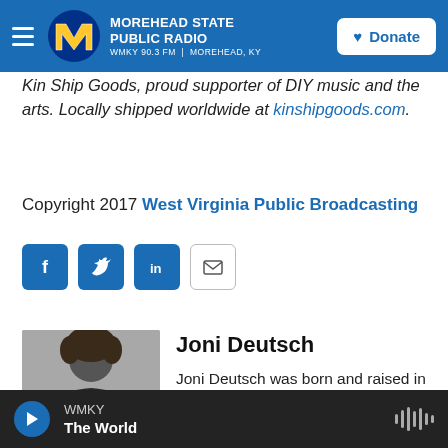Morehead State Public Radio — WMKY 90.3 FM | Morehead, KY
Kin Ship Goods, proud supporter of DIY music and the arts. Locally shipped worldwide at kinshipgoods.com.
Copyright 2017 West Virginia Public Broadcasting
[Figure (other): Social sharing buttons: Facebook (f), Twitter (bird), LinkedIn (in), Email (envelope)]
[Figure (photo): Photo of Joni Deutsch holding a colorful poster in front of her face]
Joni Deutsch
Joni Deutsch was born and raised in Charleston, West Virginia, and graduated
WMKY — The World